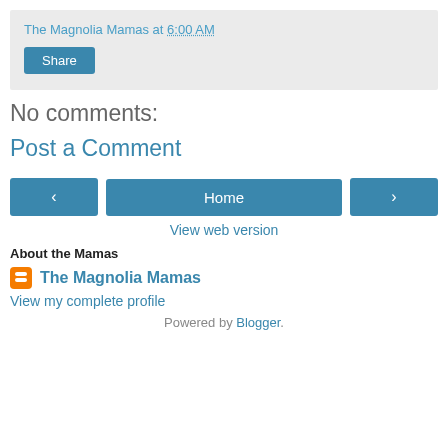The Magnolia Mamas at 6:00 AM
Share
No comments:
Post a Comment
‹ Home ›
View web version
About the Mamas
The Magnolia Mamas
View my complete profile
Powered by Blogger.